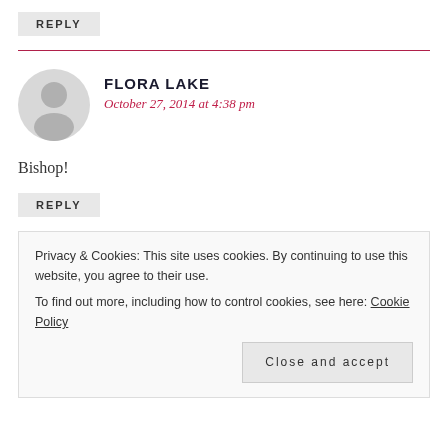REPLY
[Figure (other): Horizontal pink/crimson divider line]
[Figure (illustration): Gray default avatar/user icon circle with head and shoulder silhouette]
FLORA LAKE
October 27, 2014 at 4:38 pm
Bishop!
REPLY
Privacy & Cookies: This site uses cookies. By continuing to use this website, you agree to their use.
To find out more, including how to control cookies, see here: Cookie Policy
Close and accept